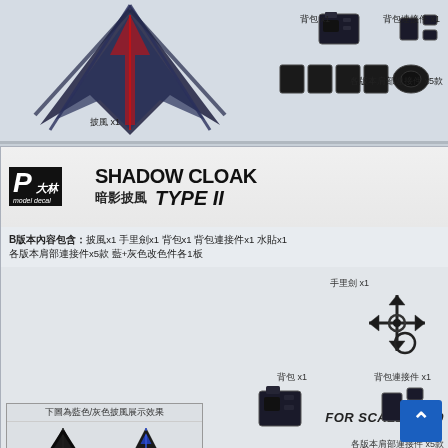[Figure (photo): Top partial view of Shadow Cloak Type I product, showing dark blue cloak wings and accessories including backpack x1, backpack connector x1, and shoulder connectors x5 types]
披風 x1
背包 x1
背包連接件 x1
各版本肩部連接件 x5款
[Figure (photo): Shadow Cloak TYPE II product advertisement card. Shows logo, product title 'SHADOW CLOAK 暗影披風 TYPE II', contents list for B version, scale 1/100 label, showcase images of black and blue cloaks, red-accented cloak, shuriken x1, backpack x1, backpack connector x1, shoulder connectors x5 types]
SHADOW CLOAK 暗影披風 TYPE II
B版本內容包含：披風x1 手里劍x1 背包x1 背包連接件x1 水貼x1 各版本肩部連接件x5款 藍+灰色改色件各1板
下圖為藍色/灰色披風展示效果
本商品僅包含一個完整披風
FOR SCALE 1/100
手里劍 x1
披風 x1
背包 x1
背包連接件 x1
各版本肩部連接件 x5款